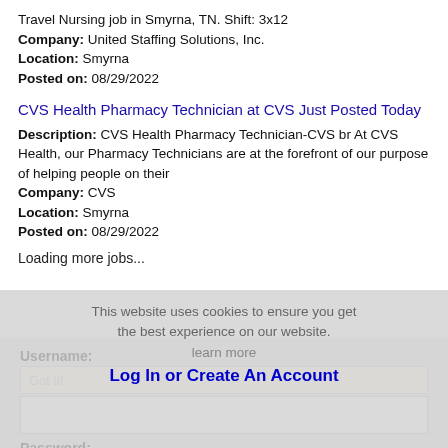Travel Nursing job in Smyrna, TN. Shift: 3x12
Company: United Staffing Solutions, Inc.
Location: Smyrna
Posted on: 08/29/2022
CVS Health Pharmacy Technician at CVS Just Posted Today
Description: CVS Health Pharmacy Technician-CVS br At CVS Health, our Pharmacy Technicians are at the forefront of our purpose of helping people on their
Company: CVS
Location: Smyrna
Posted on: 08/29/2022
Loading more jobs...
This website uses cookies to ensure you get the best experience on our website.
learn more
Log In or Create An Account
Username:
Got it!
Password: